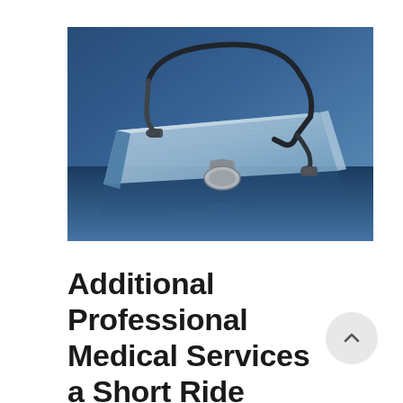[Figure (photo): A stethoscope resting on an open book, photographed with a blue tint/tone, on a reflective surface. The image has a professional medical reference look.]
Additional Professional Medical Services a Short Ride from Vista Center